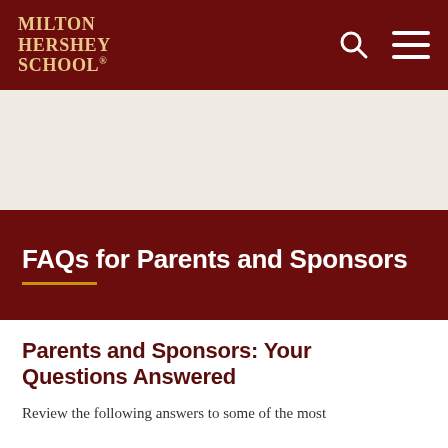MILTON HERSHEY SCHOOL®
FAQs for Parents and Sponsors
Parents and Sponsors: Your Questions Answered
Review the following answers to some of the most